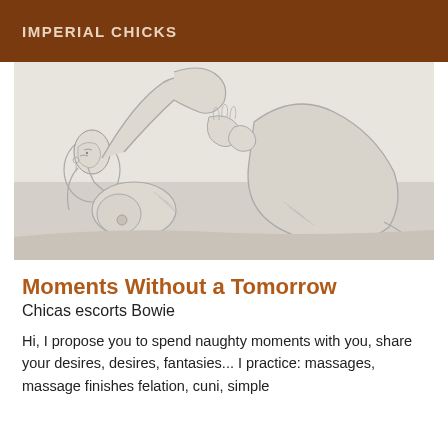IMPERIAL CHICKS
[Figure (illustration): Pencil sketch illustration of two reclining figures in an intimate pose]
Moments Without a Tomorrow
Chicas escorts Bowie
Hi, I propose you to spend naughty moments with you, share your desires, desires, fantasies... I practice: massages, massage finishes felation, cuni, simple